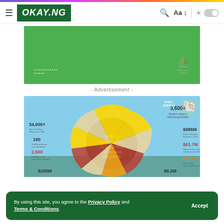OKAY.NG
[Figure (other): Green advertisement banner with faint white text and logo watermark]
- Advertisement -
[Figure (infographic): Shell Companies in Nigeria ...Powering Progress infographic wheel showing: SHELL ENERGY 3,600+, $986M, $61.7M, $98.6M, $6.2M, $200M, 2,500, 190, 34,000+]
By using this site, you agree to the Privacy Policy and Terms & Conditions.